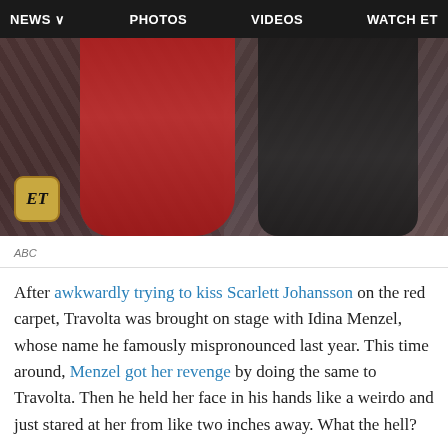NEWS  PHOTOS  VIDEOS  WATCH ET
[Figure (photo): A woman in a red dress and a man in dark clothing appearing to kiss or lean close together on a red carpet event, with an ET logo watermark in the bottom left corner.]
ABC
After awkwardly trying to kiss Scarlett Johansson on the red carpet, Travolta was brought on stage with Idina Menzel, whose name he famously mispronounced last year. This time around, Menzel got her revenge by doing the same to Travolta. Then he held her face in his hands like a weirdo and just stared at her from like two inches away. What the hell?